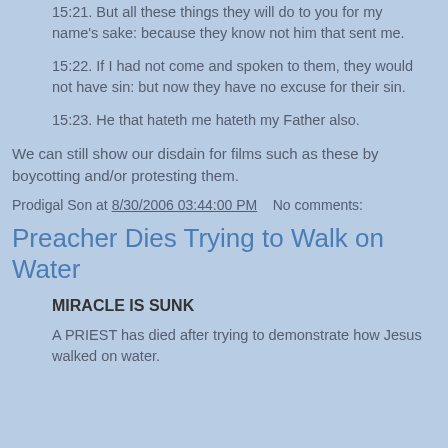15:21. But all these things they will do to you for my name's sake: because they know not him that sent me.
15:22. If I had not come and spoken to them, they would not have sin: but now they have no excuse for their sin.
15:23. He that hateth me hateth my Father also.
We can still show our disdain for films such as these by boycotting and/or protesting them.
Prodigal Son at 8/30/2006 03:44:00 PM    No comments:
Preacher Dies Trying to Walk on Water
MIRACLE IS SUNK
A PRIEST has died after trying to demonstrate how Jesus walked on water.